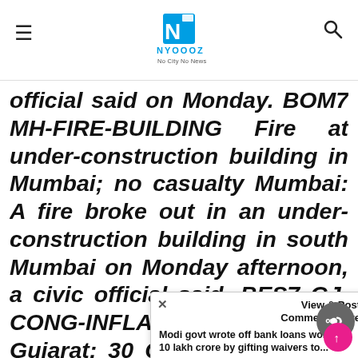NYOOOZ — No City No News
official said on Monday. BOM7 MH-FIRE-BUILDING Fire at under-construction building in Mumbai; no casualty Mumbai: A fire broke out in an under-construction building in south Mumbai on Monday afternoon, a civic official said. BES7 GJ-CONG-INFLATION-PROTEST Gujarat: 30 Congress workers detained in Rajkot during protest against price rise and Congress... Rajkot in Gujarat while protesting on Monday against price rise. BES6 GA-PANCHAYAT POLLS-MINISTER Post-SC order on OBC quota in local bodies, Goa govt to seek legu...
Modi govt wrote off bank loans worth Rs 10 lakh crore by gifting waivers to... New Delhi, Aug 6 (PTI) Senior Congress leade...
Trending
View & Post Comments Here
Read Next